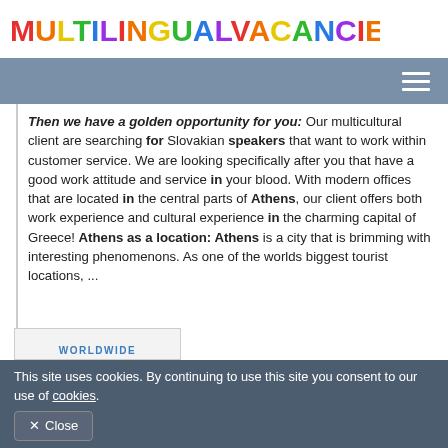MULTILINGUALVACANCIES.COM
Then we have a golden opportunity for you: Our multicultural client are searching for Slovakian speakers that want to work within customer service. We are looking specifically after you that have a good work attitude and service in your blood. With modern offices that are located in the central parts of Athens, our client offers both work experience and cultural experience in the charming capital of Greece! Athens as a location: Athens is a city that is brimming with interesting phenomenons. As one of the worlds biggest tourist locations, ...
[Figure (other): Partial image with WORLDWIDE text at bottom of page]
This site uses cookies. By continuing to use this site you consent to our use of cookies.